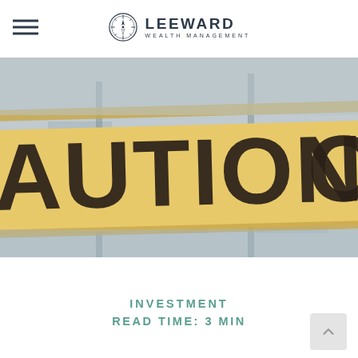LEEWARD WEALTH MANAGEMENT
[Figure (photo): Close-up photo of yellow caution tape with the word CAUTION printed in large dark letters, slightly blurred background with urban/outdoor setting.]
INVESTMENT
READ TIME: 3 MIN